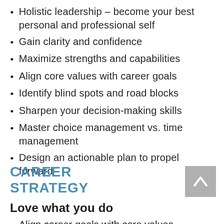Holistic leadership – become your best personal and professional self
Gain clarity and confidence
Maximize strengths and capabilities
Align core values with career goals
Identify blind spots and road blocks
Sharpen your decision-making skills
Master choice management vs. time management
Design an actionable plan to propel  forward
CAREER STRATEGY
Love what you do
Align career goals with core values